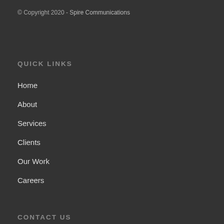© Copyright 2020 - Spire Communications
QUICK LINKS
Home
About
Services
Clients
Our Work
Careers
CONTACT US